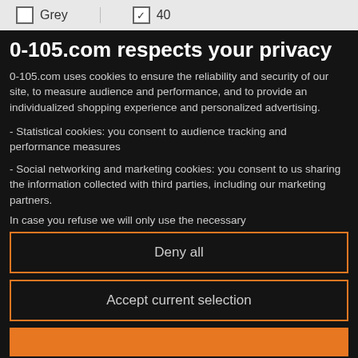Grey  40
0-105.com respects your privacy
0-105.com uses cookies to ensure the reliability and security of our site, to measure audience and performance, and to provide an individualized shopping experience and personalized advertising.
- Statistical cookies: you consent to audience tracking and performance measures
- Social networking and marketing cookies: you consent to us sharing the information collected with third parties, including our marketing partners.
In case you refuse we will only use the necessary
Deny all
Accept current selection